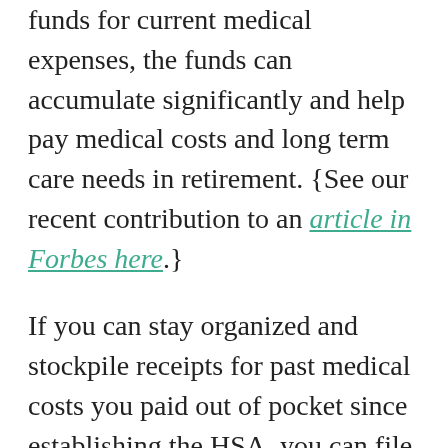funds for current medical expenses, the funds can accumulate significantly and help pay medical costs and long term care needs in retirement. {See our recent contribution to an article in Forbes here.}
If you can stay organized and stockpile receipts for past medical costs you paid out of pocket since establishing the HSA, you can file for reimbursement in retirement and still receive tax-free treatment. Doing this will allow you to supplement your retirement income tax-free in years in which tapping other accounts would push you into a higher tax bracket or expose you to higher Medicare